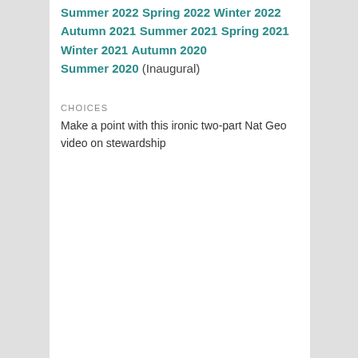Summer 2022
Spring 2022
Winter 2022
Autumn 2021
Summer 2021
Spring 2021
Winter 2021
Autumn 2020
Summer 2020 (Inaugural)
CHOICES
Make a point with this ironic two-part Nat Geo video on stewardship